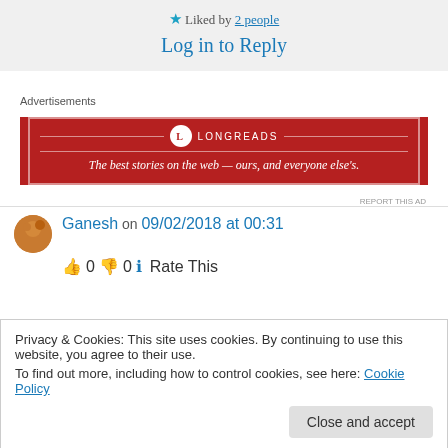★ Liked by 2 people
Log in to Reply
Advertisements
[Figure (illustration): Longreads advertisement banner: red background with white border, Longreads logo and tagline 'The best stories on the web — ours, and everyone else's.']
REPORT THIS AD
Ganesh on 09/02/2018 at 00:31
👍 0 👎 0 ℹ Rate This
Privacy & Cookies: This site uses cookies. By continuing to use this website, you agree to their use.
To find out more, including how to control cookies, see here: Cookie Policy
Close and accept